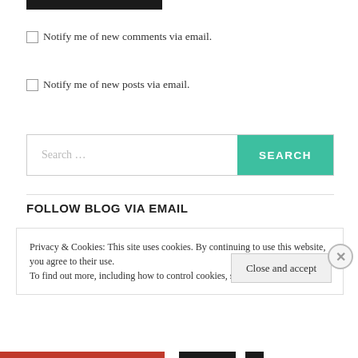[Figure (other): Black rectangular bar at top of page]
Notify me of new comments via email.
Notify me of new posts via email.
[Figure (other): Search bar with teal SEARCH button]
FOLLOW BLOG VIA EMAIL
Privacy & Cookies: This site uses cookies. By continuing to use this website, you agree to their use.
To find out more, including how to control cookies, see here: Cookie Policy
Close and accept